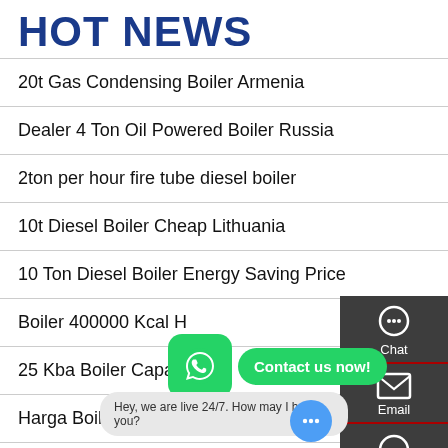HOT NEWS
20t Gas Condensing Boiler Armenia
Dealer 4 Ton Oil Powered Boiler Russia
2ton per hour fire tube diesel boiler
10t Diesel Boiler Cheap Lithuania
10 Ton Diesel Boiler Energy Saving Price
Boiler 400000 Kcal H
25 Kba Boiler Capacity
Harga Boiler Chain Grate
8 Tons Water Tu
[Figure (screenshot): WhatsApp contact widget with green icon and 'Contact us now!' button, plus chat support icons sidebar (Chat, Email, Contact) and live chat bubble: 'Hey, we are live 24/7. How may I help you?']